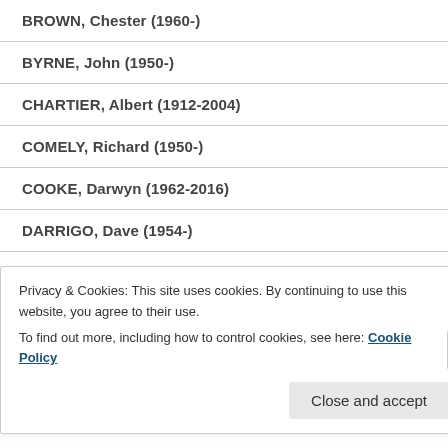BROWN, Chester (1960-)
BYRNE, John (1950-)
CHARTIER, Albert (1912-2004)
COMELY, Richard (1950-)
COOKE, Darwyn (1962-2016)
DARRIGO, Dave (1954-)
DAY, Gene (1951-1982)
DINGLE, Adrian (1911-1974)
Privacy & Cookies: This site uses cookies. By continuing to use this website, you agree to their use.
To find out more, including how to control cookies, see here: Cookie Policy
Close and accept